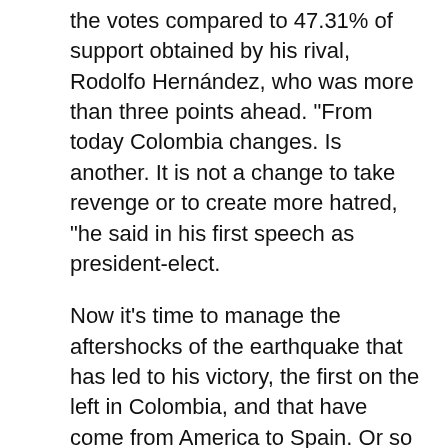the votes compared to 47.31% of support obtained by his rival, Rodolfo Hernández, who was more than three points ahead. "From today Colombia changes. Is another. It is not a change to take revenge or to create more hatred, "he said in his first speech as president-elect.
Now it's time to manage the aftershocks of the earthquake that has led to his victory, the first on the left in Colombia, and that have come from America to Spain. Or so Díaz Ayuso hinted this Monday in what could be interpreted as a veiled reference, the only one, to the Colombian elections: "We have the responsibility that Madrid continues to be a place of opportunity. According to what we are seeing in other electoral processes,